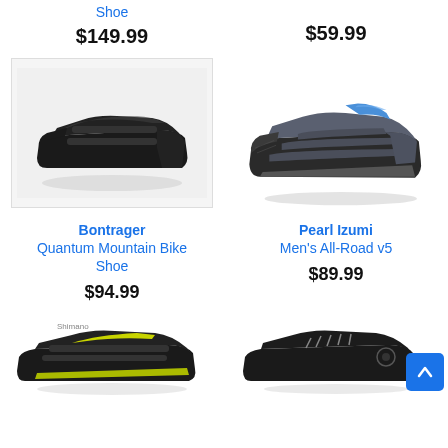Shoe
$149.99
$59.99
[Figure (photo): Black Bontrager mountain bike shoe on light gray background]
[Figure (photo): Gray Pearl Izumi cycling shoe with blue collar and three velcro straps]
Bontrager
Quantum Mountain Bike Shoe
Pearl Izumi
Men's All-Road v5
$94.99
$89.99
[Figure (photo): Black and yellow-green cycling shoe]
[Figure (photo): Black cycling shoe with gray laces]